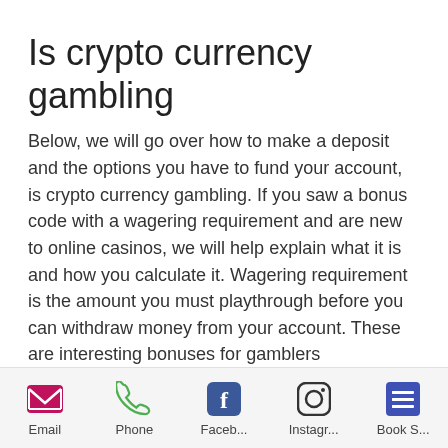Is crypto currency gambling
Below, we will go over how to make a deposit and the options you have to fund your account, is crypto currency gambling. If you saw a bonus code with a wagering requirement and are new to online casinos, we will help explain what it is and how you calculate it. Wagering requirement is the amount you must playthrough before you can withdraw money from your account. These are interesting bonuses for gamblers
Email  Phone  Faceb...  Instagr...  Book S...